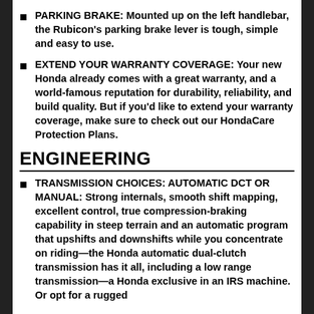PARKING BRAKE: Mounted up on the left handlebar, the Rubicon's parking brake lever is tough, simple and easy to use.
EXTEND YOUR WARRANTY COVERAGE: Your new Honda already comes with a great warranty, and a world-famous reputation for durability, reliability, and build quality. But if you'd like to extend your warranty coverage, make sure to check out our HondaCare Protection Plans.
ENGINEERING
TRANSMISSION CHOICES: AUTOMATIC DCT OR MANUAL: Strong internals, smooth shift mapping, excellent control, true compression-braking capability in steep terrain and an automatic program that upshifts and downshifts while you concentrate on riding—the Honda automatic dual-clutch transmission has it all, including a low range transmission—a Honda exclusive in an IRS machine. Or opt for a rugged